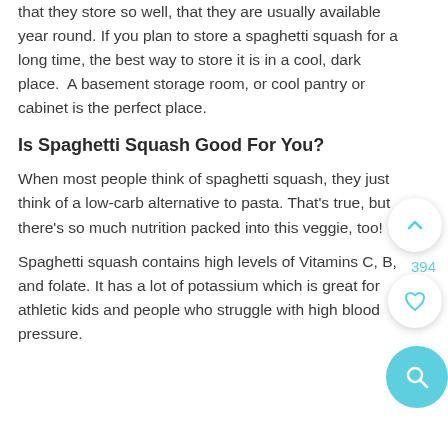that they store so well, that they are usually available year round. If you plan to store a spaghetti squash for a long time, the best way to store it is in a cool, dark place.  A basement storage room, or cool pantry or cabinet is the perfect place.
Is Spaghetti Squash Good For You?
When most people think of spaghetti squash, they just think of a low-carb alternative to pasta. That's true, but there's so much nutrition packed into this veggie, too!
Spaghetti squash contains high levels of Vitamins C, B, and folate. It has a lot of potassium which is great for athletic kids and people who struggle with high blood pressure.